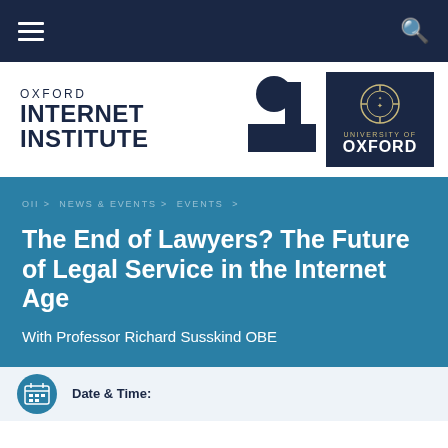Oxford Internet Institute — Navigation bar
[Figure (logo): Oxford Internet Institute logo with OII graphic mark and University of Oxford crest]
OII > NEWS & EVENTS > EVENTS >
The End of Lawyers? The Future of Legal Service in the Internet Age
With Professor Richard Susskind OBE
Date & Time: